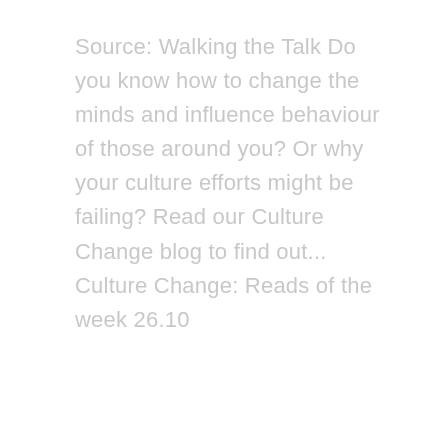Source: Walking the Talk Do you know how to change the minds and influence behaviour of those around you? Or why your culture efforts might be failing? Read our Culture Change blog to find out... Culture Change: Reads of the week 26.10